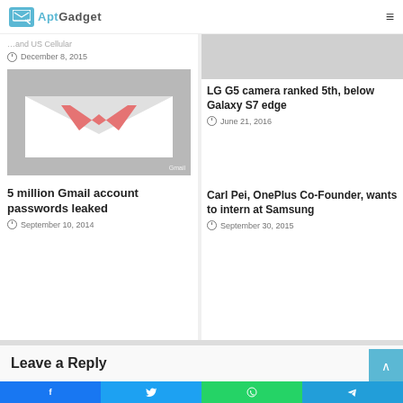AptGadget
and US Cellular
December 8, 2015
LG G5 camera ranked 5th, below Galaxy S7 edge
June 21, 2016
[Figure (photo): Gmail envelope icon with pink M logo on grey background, labelled Gmail]
5 million Gmail account passwords leaked
September 10, 2014
Carl Pei, OnePlus Co-Founder, wants to intern at Samsung
September 30, 2015
Leave a Reply